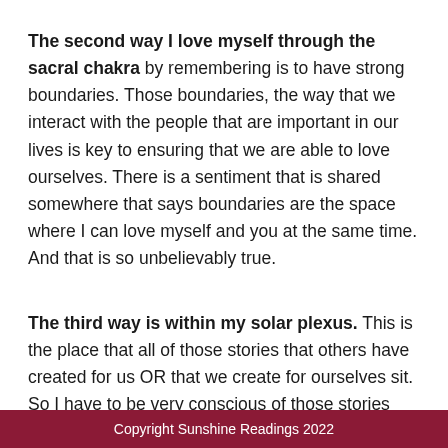The second way I love myself through the sacral chakra by remembering is to have strong boundaries. Those boundaries, the way that we interact with the people that are important in our lives is key to ensuring that we are able to love ourselves. There is a sentiment that is shared somewhere that says boundaries are the space where I can love myself and you at the same time. And that is so unbelievably true.
The third way is within my solar plexus. This is the place that all of those stories that others have created for us OR that we create for ourselves sit. So I have to be very conscious of those stories and whether or not they are
Copyright Sunshine Readings 2022